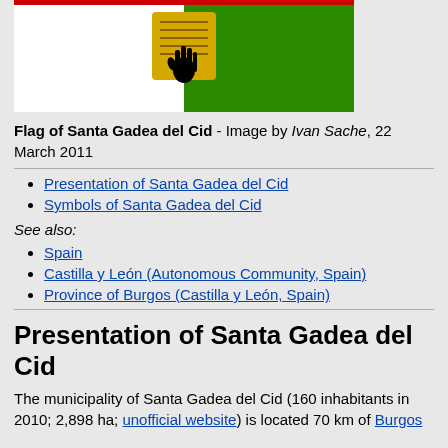[Figure (illustration): Flag of Santa Gadea del Cid: left half white, right half green, with a golden scroll and black hand symbol in the center, red stripe at top.]
Flag of Santa Gadea del Cid - Image by Ivan Sache, 22 March 2011
Presentation of Santa Gadea del Cid
Symbols of Santa Gadea del Cid
See also:
Spain
Castilla y León (Autonomous Community, Spain)
Province of Burgos (Castilla y León, Spain)
Presentation of Santa Gadea del Cid
The municipality of Santa Gadea del Cid (160 inhabitants in 2010; 2,898 ha; unofficial website) is located 70 km of Burgos